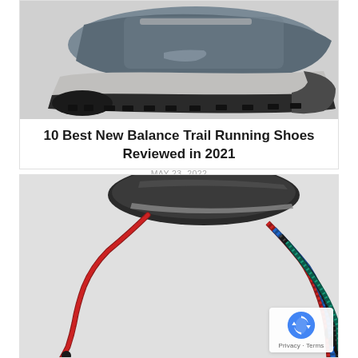[Figure (photo): Close-up photo of a gray and black New Balance trail running shoe, showing the sole and side profile against a white background.]
10 Best New Balance Trail Running Shoes Reviewed in 2021
MAY 23, 2022
[Figure (photo): Photo of colorful sunglass retainer cords/straps including red, blue, black, and teal colors with black adjustment beads, with a pair of dark-lensed sunglasses in the background.]